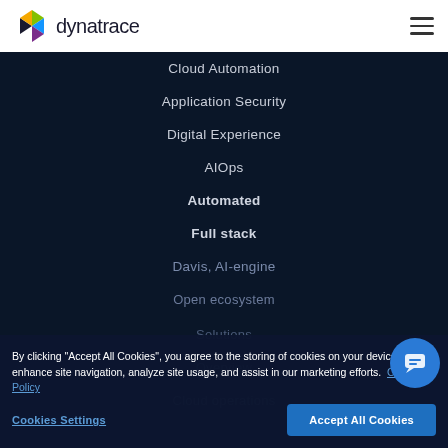[Figure (logo): Dynatrace logo with colorful cube icon and company name text]
Cloud Automation
Application Security
Digital Experience
AIOps
Automated
Full stack
Davis, AI-engine
Open ecosystem
Solutions
Overview
Cloud operations
By clicking "Accept All Cookies", you agree to the storing of cookies on your device to enhance site navigation, analyze site usage, and assist in our marketing efforts. Cookie Policy
Cookies Settings
Accept All Cookies